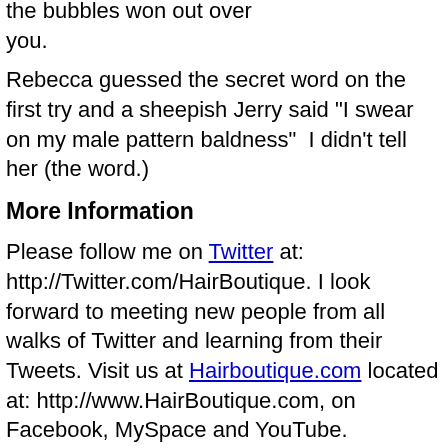the bubbles won out  over you.
Rebecca guessed the secret word on the first try and a sheepish Jerry said "I swear on my male pattern baldness"  I didn't tell her (the word.)
More Information
Please follow me on Twitter at: http://Twitter.com/HairBoutique. I look forward to meeting new people from all walks of Twitter and learning from their Tweets. Visit us at Hairboutique.com located at: http://www.HairBoutique.com, on Facebook, MySpace and YouTube.